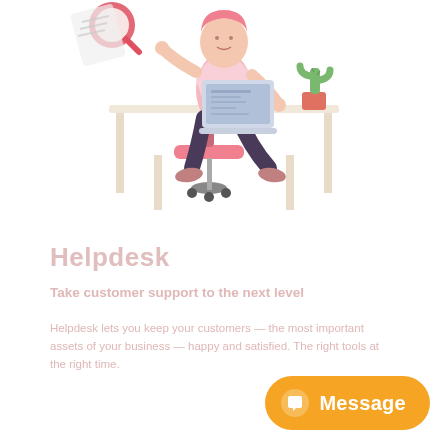[Figure (illustration): Flat vector illustration of a woman sitting at a desk working on a laptop computer. She has pink hair and is wearing a pink top with dark trousers. A cactus plant sits on the desk. A magnifying glass icon is visible in the upper left. The desk has simple angular legs.]
Helpdesk
Take customer support to the next level
Helpdesk lets you keep your customers — the most important assets of your business — happy and satisfied. The right tools at the right time.
[Figure (infographic): Orange rounded rectangle button with a speech bubble circle icon and the text 'Message' in white bold font.]